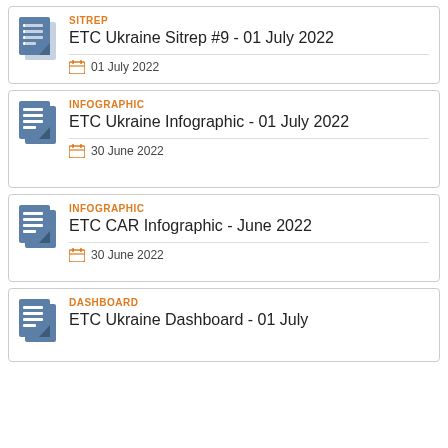SITREP — ETC Ukraine Sitrep #9 - 01 July 2022 — 01 July 2022
INFOGRAPHIC — ETC Ukraine Infographic - 01 July 2022 — 30 June 2022
INFOGRAPHIC — ETC CAR Infographic - June 2022 — 30 June 2022
DASHBOARD — ETC Ukraine Dashboard - 01 July